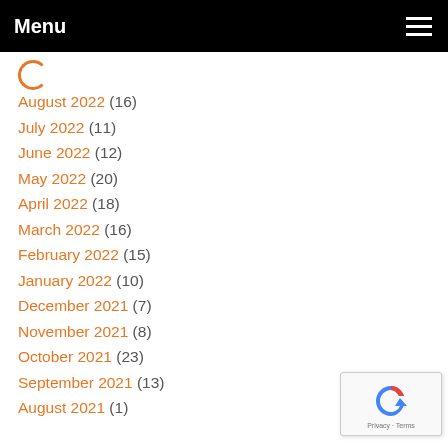Menu
August 2022 (16)
July 2022 (11)
June 2022 (12)
May 2022 (20)
April 2022 (18)
March 2022 (16)
February 2022 (15)
January 2022 (10)
December 2021 (7)
November 2021 (8)
October 2021 (23)
September 2021 (13)
August 2021 (1)